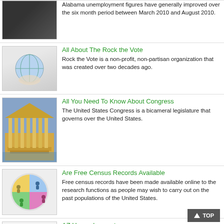[Figure (photo): Dark photo of a person]
Alabama unemployment figures have generally improved over the six month period between March 2010 and August 2010.
[Figure (photo): Hand holding a globe]
All About The Rock the Vote
Rock the Vote is a non-profit, non-partisan organization that was created over two decades ago.
[Figure (photo): Courthouse with columns reflected in water]
All You Need To Know About Congress
The United States Congress is a bicameral legislature that governs over the United States.
[Figure (photo): Pie chart with people figures]
Are Free Census Records Available
Free census records have been made available online to the research functions as people may wish to carry out on the past populations of the United States.
[Figure (photo): Job sticky notes diagram]
AZ Unemployment
Arizona unemployment reports are compiled by the Bureau of Labor Statistics.